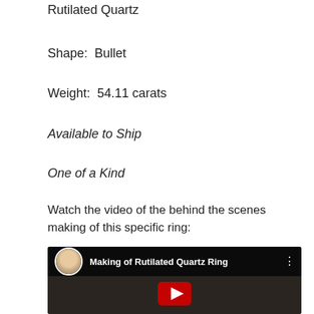Rutilated Quartz
Shape:  Bullet
Weight:  54.11 carats
Available to Ship
One of a Kind
Watch the video of the behind the scenes making of this specific ring:
[Figure (screenshot): YouTube video thumbnail showing 'Making of Rutilated Quartz Ring' with a woman's avatar photo, dark background, and YouTube play button overlay]